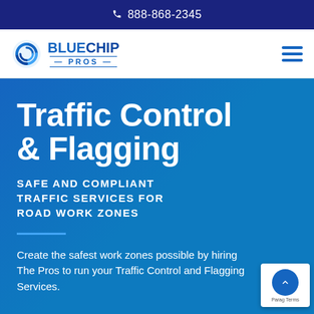888-868-2345
[Figure (logo): Blue Chip Pros logo with circular blue swirl icon and BLUECHIP PROS text]
Traffic Control & Flagging
SAFE AND COMPLIANT TRAFFIC SERVICES FOR ROAD WORK ZONES
Create the safest work zones possible by hiring The Pros to run your Traffic Control and Flagging Services.